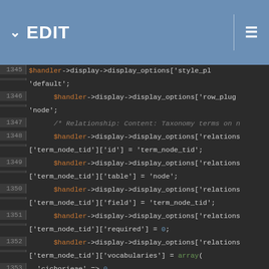EDIT
[Figure (screenshot): Code editor showing PHP code lines 1345-1362, with syntax highlighting. Dark background editor with orange variable names ($handler), green keywords (array), blue numeric literals (0), and gray comments.]